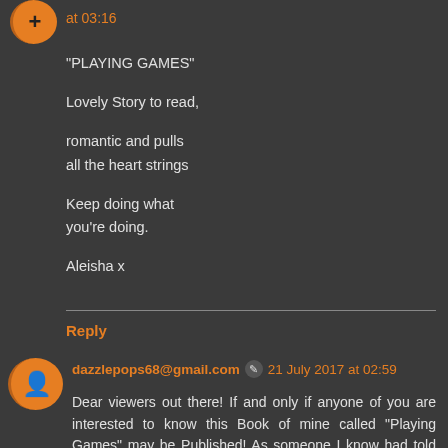at 03:16
"PLAYING GAMES"

Lovely Story to read,

romantic and pulls
all the heart strings

Keep doing what
you're doing.

Aleisha x
Reply
dazzlepops68@gmail.com  21 July 2017 at 02:59
Dear viewers out there! If and only if anyone of you are interested to know this Book of mine called "Playing Games" may be Published! As someone I know had told me to leave it with them as they know people.